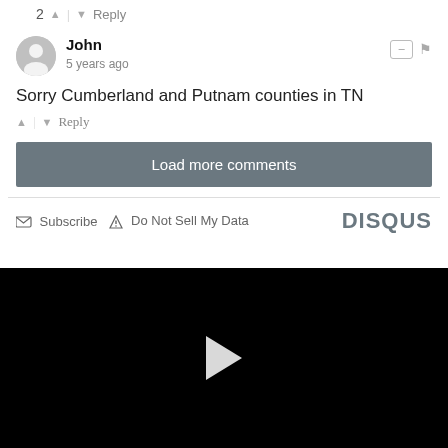2 ↑ | ↓ Reply
John
5 years ago
Sorry Cumberland and Putnam counties in TN
↑ | ↓ Reply
Load more comments
Subscribe  Do Not Sell My Data  DISQUS
[Figure (other): Black video player area with a white play button triangle in the center]